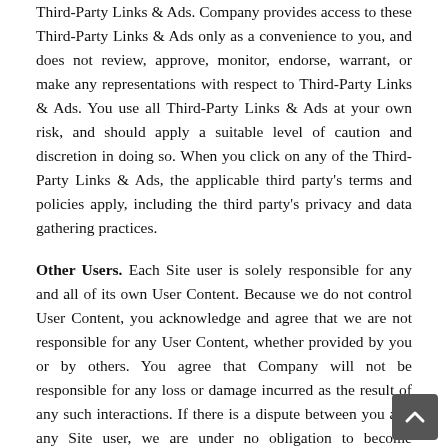Third-Party Links & Ads. Company provides access to these Third-Party Links & Ads only as a convenience to you, and does not review, approve, monitor, endorse, warrant, or make any representations with respect to Third-Party Links & Ads. You use all Third-Party Links & Ads at your own risk, and should apply a suitable level of caution and discretion in doing so. When you click on any of the Third-Party Links & Ads, the applicable third party's terms and policies apply, including the third party's privacy and data gathering practices.
Other Users. Each Site user is solely responsible for any and all of its own User Content. Because we do not control User Content, you acknowledge and agree that we are not responsible for any User Content, whether provided by you or by others. You agree that Company will not be responsible for any loss or damage incurred as the result of any such interactions. If there is a dispute between you and any Site user, we are under no obligation to become involved.
You hereby release and forever discharge the Company and our officers, employees, agents, successors, and assigns from, and hereby waive and relinquish, each and every past, present and